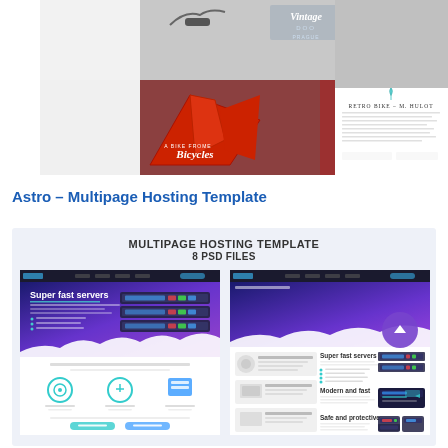[Figure (screenshot): Vintage bicycle website template screenshot showing collage of bicycle photos with 'Vintage Bicycles' branding and 'RETRO BIKE – M. HULOT' product panel]
Astro – Multipage Hosting Template
[Figure (screenshot): Astro Multipage Hosting Template preview showing 'MULTIPAGE HOSTING TEMPLATE – 8 PSD FILES' header with two web page screenshots side by side featuring 'Super fast servers' hosting theme with blue/purple gradient design]